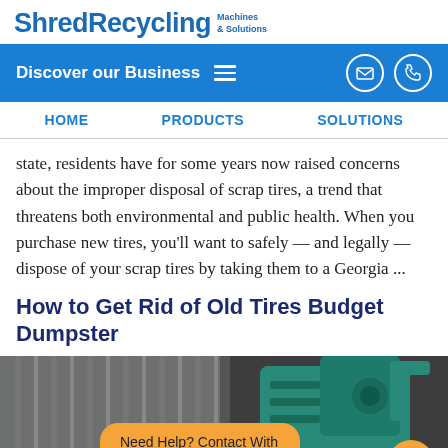ShredRecycling Machines & Solutions
Discover our Business
HOME   PRODUCTS   SOLUTIONS
state, residents have for some years now raised concerns about the improper disposal of scrap tires, a trend that threatens both environmental and public health. When you purchase new tires, you'll want to safely — and legally — dispose of your scrap tires by taking them to a Georgia ...
How to Get Rid of Old Tires Budget Dumpster
[Figure (photo): Industrial recycling machinery — corrugated metal wall on left, teal/green shredding machine on right inside warehouse]
Need Help? Contact With Us here